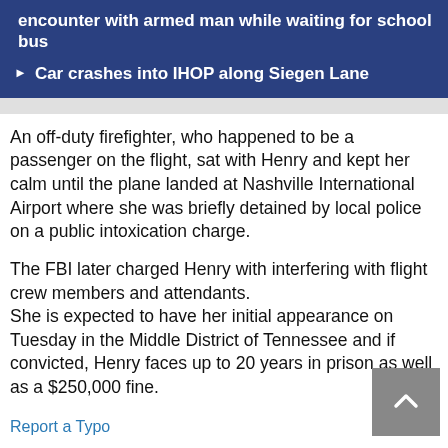encounter with armed man while waiting for school bus
Car crashes into IHOP along Siegen Lane
An off-duty firefighter, who happened to be a passenger on the flight, sat with Henry and kept her calm until the plane landed at Nashville International Airport where she was briefly detained by local police on a public intoxication charge.
The FBI later charged Henry with interfering with flight crew members and attendants.
She is expected to have her initial appearance on Tuesday in the Middle District of Tennessee and if convicted, Henry faces up to 20 years in prison as well as a $250,000 fine.
Report a Typo